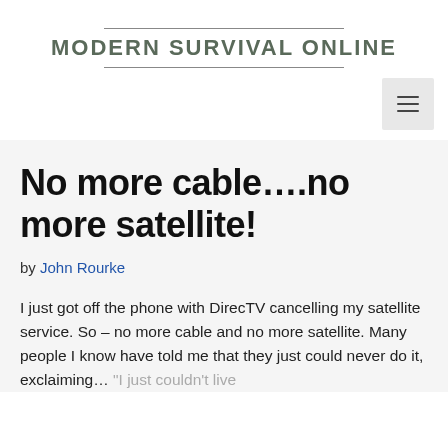MODERN SURVIVAL ONLINE
No more cable….no more satellite!
by John Rourke
I just got off the phone with DirecTV cancelling my satellite service. So – no more cable and no more satellite. Many people I know have told me that they just could never do it, exclaiming… "I just couldn't live